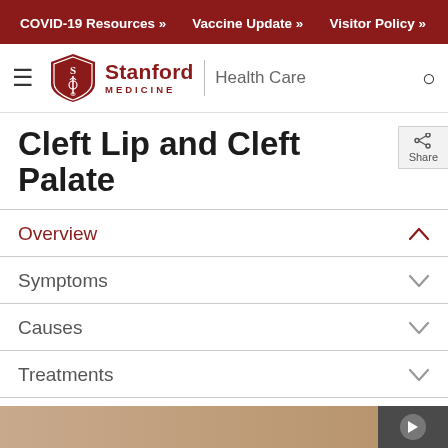COVID-19 Resources »   Vaccine Update »   Visitor Policy »
[Figure (logo): Stanford Medicine Health Care logo with shield emblem, hamburger menu icon and search icon]
Cleft Lip and Cleft Palate
Overview
Symptoms
Causes
Treatments
What Are Cleft Lip and Cleft Palate?
[Figure (photo): Partial view of a medical image or photo at bottom of page, likely showing a baby or related medical imagery]